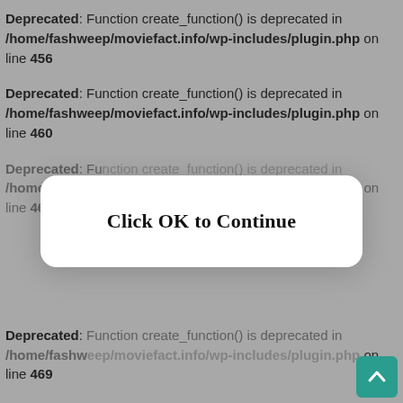Deprecated: Function create_function() is deprecated in /home/fashweep/moviefact.info/wp-includes/plugin.php on line 456
Deprecated: Function create_function() is deprecated in /home/fashweep/moviefact.info/wp-includes/plugin.php on line 460
Deprecated: Function create_function() is deprecated in /home/fashweep/moviefact.info/wp-includes/plugin.php on line 465
[Figure (other): Modal dialog overlay with white rounded rectangle containing bold text 'Click OK to Continue']
Deprecated: Function create_function() is deprecated in /home/fashweep/moviefact.info/wp-includes/plugin.php on line 469
Deprecated: Function create_function() is deprecated in /home/fashweep/moviefact.info/wp-includes/plugin.php on line 443
Deprecated: Function create_function() is deprecated in /home/fashweep/moviefact.info/wp-includes/plugin.php on li[cut off]